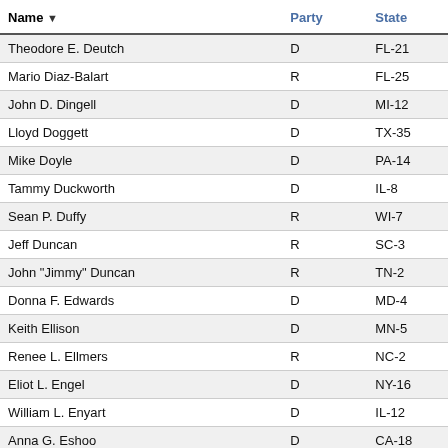| Name | Party | State |
| --- | --- | --- |
| Theodore E. Deutch | D | FL-21 |
| Mario Diaz-Balart | R | FL-25 |
| John D. Dingell | D | MI-12 |
| Lloyd Doggett | D | TX-35 |
| Mike Doyle | D | PA-14 |
| Tammy Duckworth | D | IL-8 |
| Sean P. Duffy | R | WI-7 |
| Jeff Duncan | R | SC-3 |
| John "Jimmy" Duncan | R | TN-2 |
| Donna F. Edwards | D | MD-4 |
| Keith Ellison | D | MN-5 |
| Renee L. Ellmers | R | NC-2 |
| Eliot L. Engel | D | NY-16 |
| William L. Enyart | D | IL-12 |
| Anna G. Eshoo | D | CA-18 |
| Elizabeth H. Esty | D | CT-5 |
| Blake Farenthold | R | TX-27 |
| Sam Farr | D | CA-20 |
| Chaka Fattah | D | PA-2 |
| Stephen Lee Fincher | R | TN-8 |
| Mike Fitzpatrick | R | PA-8 |
| Charles J. "Chuck" Fleischmann | R | TN-3 |